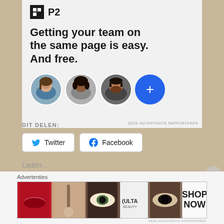[Figure (screenshot): P2 advertisement card with logo, headline 'Getting your team on the same page is easy. And free.' and three circular profile photo avatars plus a blue plus button]
DEZE ADVERTENTIE RAPPORTEREN
DIT DELEN:
[Figure (logo): Twitter bird icon]
Twitter
[Figure (logo): Facebook f icon]
Facebook
Laden...
Advertenties
[Figure (photo): Bottom advertisement banner for ULTA beauty showing makeup-themed imagery with 'SHOP NOW' button]